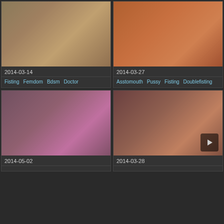[Figure (photo): Thumbnail image dated 2014-03-14]
2014-03-14
Fisting  Femdom  Bdsm  Doctor
[Figure (photo): Thumbnail image dated 2014-03-27]
2014-03-27
Asstomouth  Pussy  Fisting  Doublefisting
[Figure (photo): Thumbnail image dated 2014-05-02]
2014-05-02
[Figure (photo): Thumbnail image dated 2014-03-28]
2014-03-28